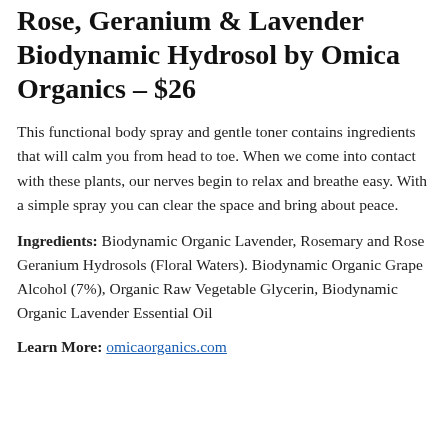Rose, Geranium & Lavender Biodynamic Hydrosol by Omica Organics – $26
This functional body spray and gentle toner contains ingredients that will calm you from head to toe. When we come into contact with these plants, our nerves begin to relax and breathe easy. With a simple spray you can clear the space and bring about peace.
Ingredients: Biodynamic Organic Lavender, Rosemary and Rose Geranium Hydrosols (Floral Waters). Biodynamic Organic Grape Alcohol (7%), Organic Raw Vegetable Glycerin, Biodynamic Organic Lavender Essential Oil
Learn More: omicaorganics.com